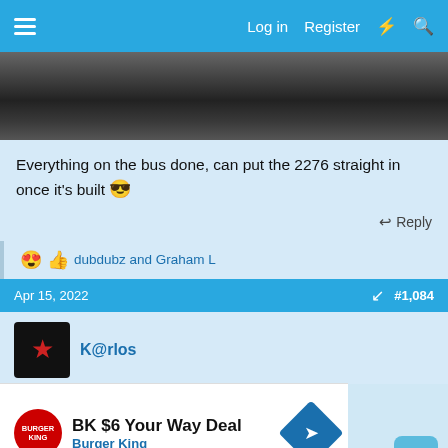≡  Log in  Register
[Figure (photo): Dark asphalt or pavement surface photo, partially cropped at top]
Everything on the bus done, can put the 2276 straight in once it's built 😎
↩ Reply
😍 👍 dubdubz and Graham L
Apr 15, 2022  #1,084
K@rlos
[Figure (other): Burger King advertisement: BK $6 Your Way Deal, Burger King]
BK $6 Your Way Deal
Burger King